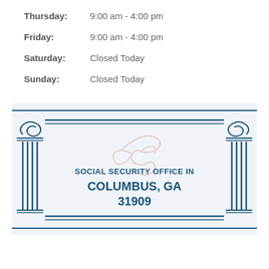Thursday:   9:00 am - 4:00 pm
Friday:   9:00 am - 4:00 pm
Saturday:   Closed Today
Sunday:   Closed Today
[Figure (illustration): Decorative banner with Greek columns on left and right sides, horizontal double lines at top and bottom, and centered text reading SOCIAL SECURITY OFFICE IN COLUMBUS, GA 31909 with a faint eagle watermark in the background.]